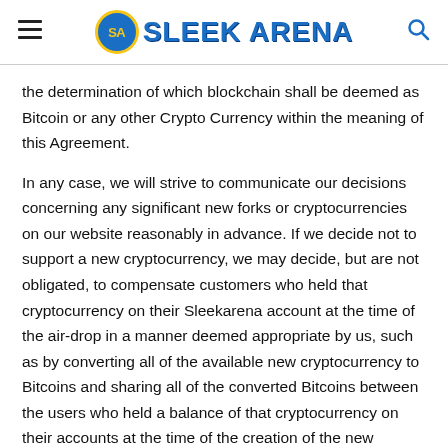SLEEK ARENA
the determination of which blockchain shall be deemed as Bitcoin or any other Crypto Currency within the meaning of this Agreement.
In any case, we will strive to communicate our decisions concerning any significant new forks or cryptocurrencies on our website reasonably in advance. If we decide not to support a new cryptocurrency, we may decide, but are not obligated, to compensate customers who held that cryptocurrency on their Sleekarena account at the time of the air-drop in a manner deemed appropriate by us, such as by converting all of the available new cryptocurrency to Bitcoins and sharing all of the converted Bitcoins between the users who held a balance of that cryptocurrency on their accounts at the time of the creation of the new